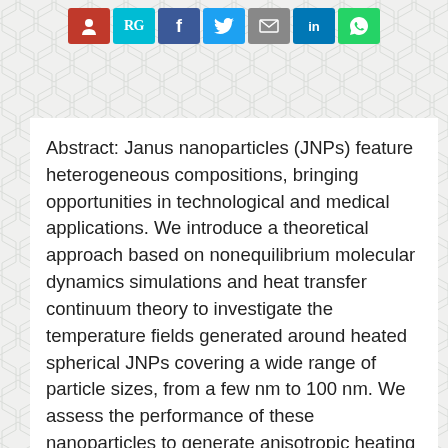[Figure (infographic): Social media sharing buttons: Mendeley (red), ResearchGate (teal), Facebook (blue), Twitter (light blue), Email (gray), LinkedIn (blue), WhatsApp (green)]
Abstract: Janus nanoparticles (JNPs) feature heterogeneous compositions, bringing opportunities in technological and medical applications. We introduce a theoretical approach based on nonequilibrium molecular dynamics simulations and heat transfer continuum theory to investigate the temperature fields generated around heated spherical JNPs covering a wide range of particle sizes, from a few nm to 100 nm. We assess the performance of these nanoparticles to generate anisotropic heating at the nanoscale. We demonstrate that the contrasting interfacial thermal conductances of the fluid-material interfaces arising from the heterogeneous composition of the JNPs can be exploited to control the thermal fields around the nanoparticle, leading to a temperature difference between both sides of the nanoparticle (temperature